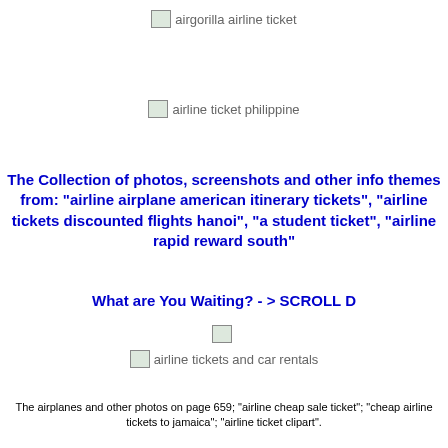[Figure (other): Broken image placeholder labeled 'airgorilla airline ticket']
[Figure (other): Broken image placeholder labeled 'airline ticket philippine']
The Collection of photos, screenshots and other info themes from: "airline airplane american itinerary tickets", "airline tickets discounted flights hanoi", "a student ticket", "airline rapid reward south"
What are You Waiting? - > SCROLL D
[Figure (other): Small broken image placeholder]
[Figure (other): Broken image placeholder labeled 'airline tickets and car rentals']
The airplanes and other photos on page 659; "airline cheap sale ticket"; "cheap airline tickets to jamaica"; "airline ticket clipart".